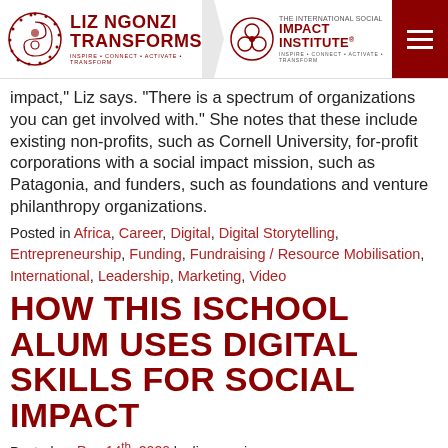Liz Ngonzi Transforms | The International Social Impact Institute
impact," Liz says. "There is a spectrum of organizations you can get involved with." She notes that these include existing non-profits, such as Cornell University, for-profit corporations with a social impact mission, such as Patagonia, and funders, such as foundations and venture philanthropy organizations.
Posted in Africa, Career, Digital, Digital Storytelling, Entrepreneurship, Funding, Fundraising / Resource Mobilisation, International, Leadership, Marketing, Video
HOW THIS ISCHOOL ALUM USES DIGITAL SKILLS FOR SOCIAL IMPACT
Posted on Dec 14th, 2020 by lizngonzi